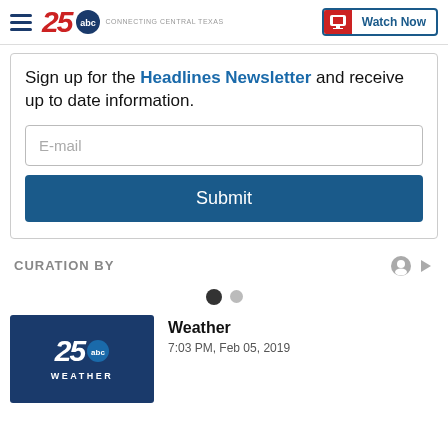[Figure (logo): 25ABC Connecting Central Texas TV station logo with hamburger menu and Watch Now button]
Sign up for the Headlines Newsletter and receive up to date information.
E-mail
Submit
CURATION BY
[Figure (other): Carousel navigation dots - one filled dark, one grey]
Weather
7:03 PM, Feb 05, 2019
[Figure (logo): 25ABC Weather thumbnail image with dark blue background and WEATHER text]